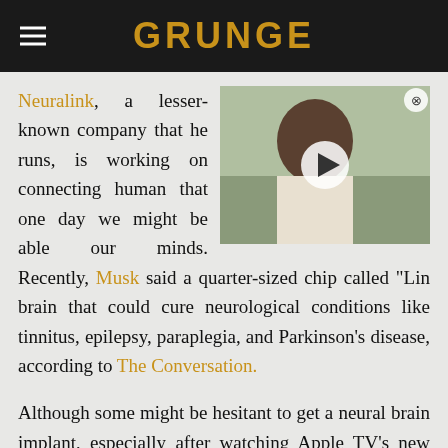GRUNGE
[Figure (photo): Video thumbnail of a man with curly hair outdoors, with a play button overlay and close button]
Neuralink, a lesser-known company that he runs, is working on connecting human [brains to computers] that one day we might be able [to fully back up] our minds. Recently, Musk said [the company has developed] a quarter-sized chip called "Lin[k" that is placed in the] brain that could cure neurological conditions like tinnitus, epilepsy, paraplegia, and Parkinson's disease, according to The Conversation.
Although some might be hesitant to get a neural brain implant, especially after watching Apple TV's new release, "Severance," certain kinds of devices like the cochlear implant already exist and have been helpful for treating certain conditions, per The Conversation. However, a